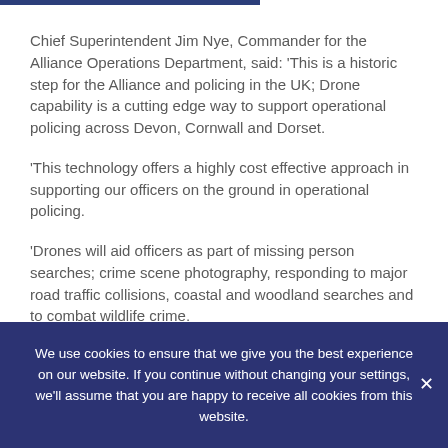Chief Superintendent Jim Nye, Commander for the Alliance Operations Department, said: 'This is a historic step for the Alliance and policing in the UK; Drone capability is a cutting edge way to support operational policing across Devon, Cornwall and Dorset.
'This technology offers a highly cost effective approach in supporting our officers on the ground in operational policing.
'Drones will aid officers as part of missing person searches; crime scene photography, responding to major road traffic collisions, coastal and woodland searches and to combat wildlife crime.
We use cookies to ensure that we give you the best experience on our website. If you continue without changing your settings, we'll assume that you are happy to receive all cookies from this website.